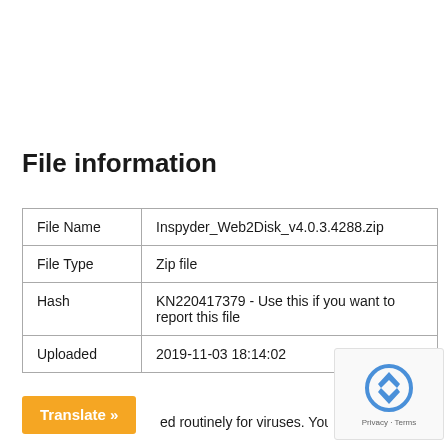File information
|  |  |
| --- | --- |
| File Name | Inspyder_Web2Disk_v4.0.3.4288.zip |
| File Type | Zip file |
| Hash | KN220417379 - Use this if you want to report this file |
| Uploaded | 2019-11-03 18:14:02 |
ed routinely for viruses. You can also report